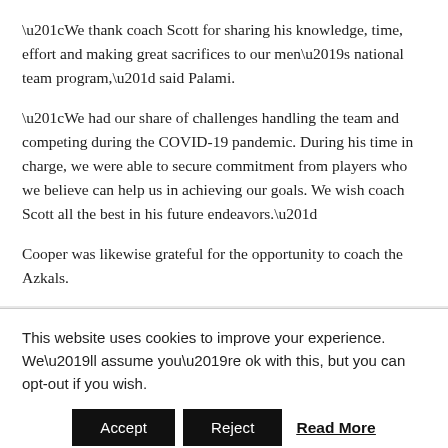“We thank coach Scott for sharing his knowledge, time, effort and making great sacrifices to our men’s national team program,” said Palami.
“We had our share of challenges handling the team and competing during the COVID-19 pandemic. During his time in charge, we were able to secure commitment from players who we believe can help us in achieving our goals. We wish coach Scott all the best in his future endeavors.”
Cooper was likewise grateful for the opportunity to coach the Azkals.
“I would like to take the opportunity to wish the Azkals all
This website uses cookies to improve your experience. We’ll assume you’re ok with this, but you can opt-out if you wish.
Accept   Reject   Read More